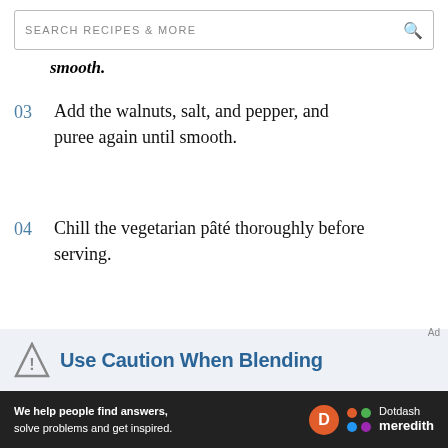SEARCH RECIPES & MORE
smooth.
03  Add the walnuts, salt, and pepper, and puree again until smooth.
04  Chill the vegetarian pâté thoroughly before serving.
05  Serve your pâté with bread or crackers.
Use Caution When Blending
Ad
We help people find answers, solve problems and get inspired.  Dotdash meredith